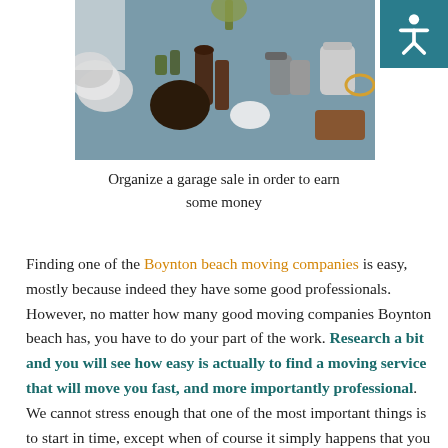[Figure (photo): A garage sale table covered with various items including plates, vases, containers, pottery, jars, and other household objects on a blue surface.]
Organize a garage sale in order to earn some money
Finding one of the Boynton beach moving companies is easy, mostly because indeed they have some good professionals. However, no matter how many good moving companies Boynton beach has, you have to do your part of the work. Research a bit and you will see how easy is actually to find a moving service that will move you fast, and more importantly professional. We cannot stress enough that one of the most important things is to start in time, except when of course it simply happens that you have to move in short term notice, but we have covered that. By following these